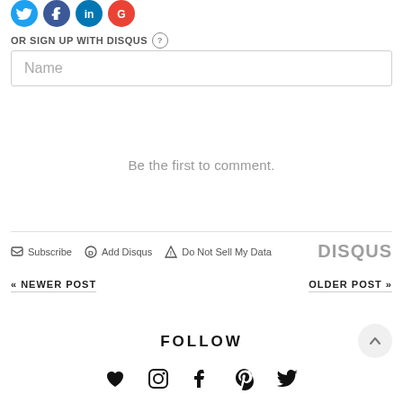[Figure (illustration): Four social media login icons (Twitter/X blue, Facebook blue, LinkedIn blue, Google red) cropped at top of page]
OR SIGN UP WITH DISQUS ?
Name
Be the first to comment.
Subscribe  Add Disqus  Do Not Sell My Data  DISQUS
« NEWER POST
OLDER POST »
FOLLOW
[Figure (illustration): Five social media icons in a row: heart (Bloglovin), Instagram, Facebook, Pinterest, Twitter — all black]